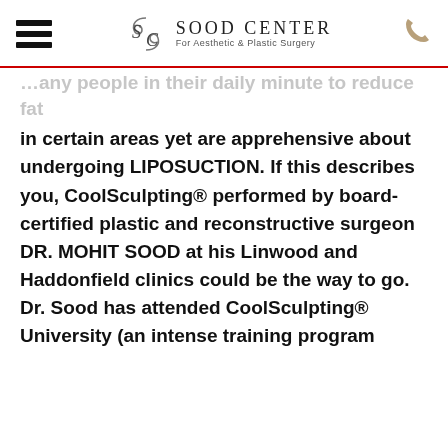SOOD CENTER For Aesthetic & Plastic Surgery
in certain areas yet are apprehensive about undergoing LIPOSUCTION. If this describes you, CoolSculpting® performed by board-certified plastic and reconstructive surgeon DR. MOHIT SOOD at his Linwood and Haddonfield clinics could be the way to go. Dr. Sood has attended CoolSculpting® University (an intense training program